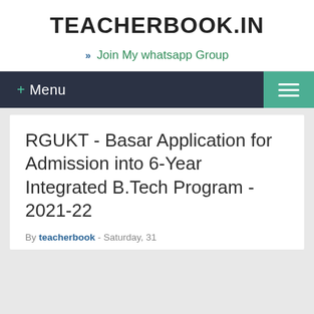TEACHERBOOK.IN
» Join My whatsapp Group
RGUKT - Basar Application for Admission into 6-Year Integrated B.Tech Program - 2021-22
By teacherbook - Saturday, 31